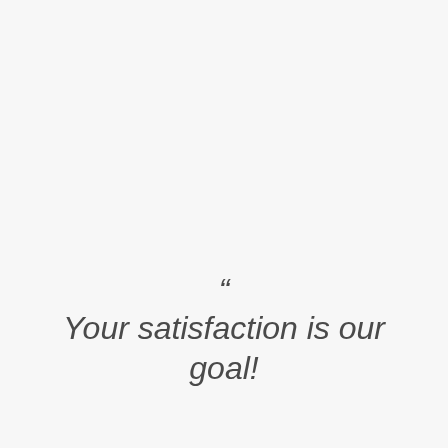“ Your satisfaction is our goal!